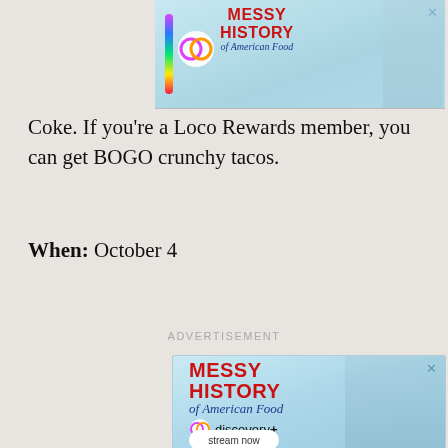[Figure (screenshot): Top banner advertisement for 'Messy History of American Food' on discovery+, showing logo and Statue of Liberty imagery]
Coke. If you're a Loco Rewards member, you can get BOGO crunchy tacos.
When: October 4
ADVERTISEMENT
[Figure (screenshot): Large advertisement for 'Messy History of American Food' on discovery+ with 'stream now' button, rainbow gradient bar, Terms apply, and Statue of Liberty holding a hot dog]